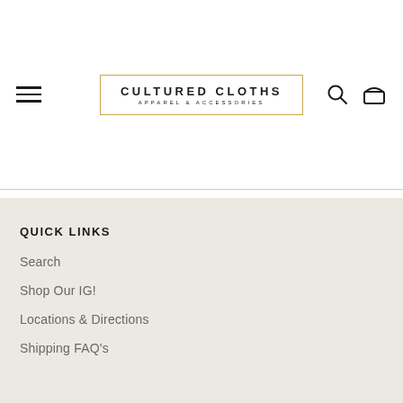[Figure (logo): Cultured Cloths logo with gold rectangle border, brand name in bold spaced caps, and subtitle APPAREL & ACCESSORIES]
QUICK LINKS
Search
Shop Our IG!
Locations & Directions
Shipping FAQ's